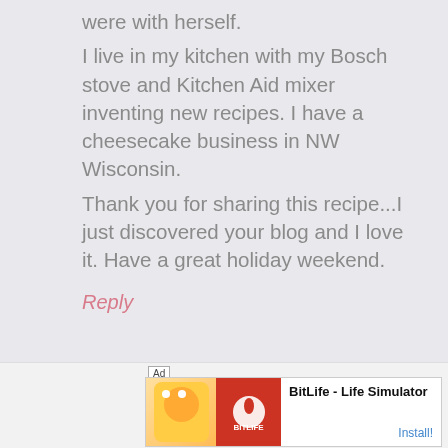were with herself.
I live in my kitchen with my Bosch stove and Kitchen Aid mixer inventing new recipes. I have a cheesecake business in NW Wisconsin.
Thank you for sharing this recipe...I just discovered your blog and I love it. Have a great holiday weekend.
Reply
[Figure (other): Accessibility icon - blue circle with white person figure]
[Figure (other): Advertisement banner for BitLife - Life Simulator app with Install button]